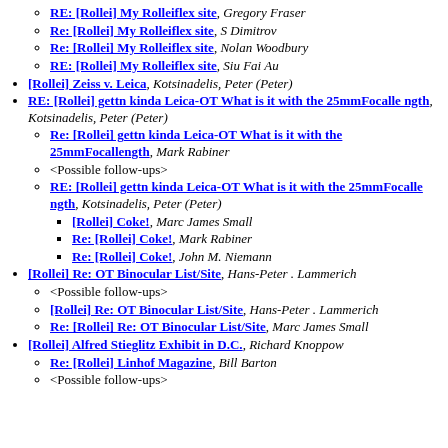RE: [Rollei] My Rolleiflex site, Gregory Fraser
Re: [Rollei] My Rolleiflex site, S Dimitrov
Re: [Rollei] My Rolleiflex site, Nolan Woodbury
RE: [Rollei] My Rolleiflex site, Siu Fai Au
[Rollei] Zeiss v. Leica, Kotsinadelis, Peter (Peter)
RE: [Rollei] gettn kinda Leica-OT What is it with the 25mmFocalle ngth, Kotsinadelis, Peter (Peter)
Re: [Rollei] gettn kinda Leica-OT What is it with the 25mmFocallength, Mark Rabiner
<Possible follow-ups>
RE: [Rollei] gettn kinda Leica-OT What is it with the 25mmFocalle ngth, Kotsinadelis, Peter (Peter)
[Rollei] Coke!, Marc James Small
Re: [Rollei] Coke!, Mark Rabiner
Re: [Rollei] Coke!, John M. Niemann
[Rollei] Re: OT Binocular List/Site, Hans-Peter . Lammerich
<Possible follow-ups>
[Rollei] Re: OT Binocular List/Site, Hans-Peter . Lammerich
Re: [Rollei] Re: OT Binocular List/Site, Marc James Small
[Rollei] Alfred Stieglitz Exhibit in D.C., Richard Knoppow
Re: [Rollei] Linhof Magazine, Bill Barton
<Possible follow-ups>